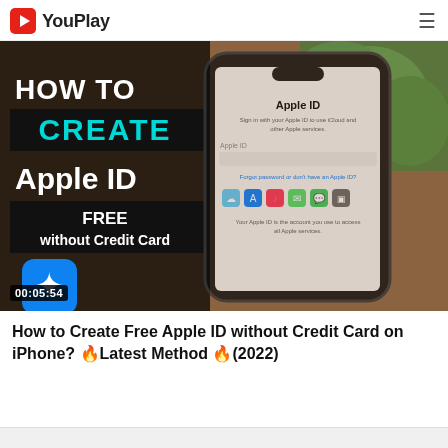YouPlay
[Figure (screenshot): YouTube-style video thumbnail showing 'HOW TO CREATE Apple ID FREE without Credit Card' text on left with App Store and Apple logos, and an iPhone displaying Apple ID setup screen on right. Duration stamp 00:05:54 visible.]
How to Create Free Apple ID without Credit Card on iPhone? 🔥Latest Method 🔥(2022)